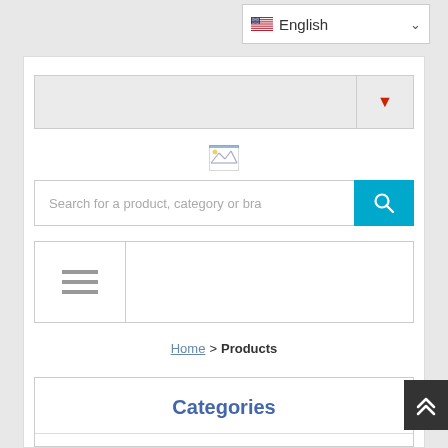[Figure (screenshot): Language selector dropdown showing US flag and 'English' text with chevron arrow]
[Figure (screenshot): Gray dropdown/selector bar with red downward triangle arrow on right side]
[Figure (illustration): Broken image placeholder icon]
Search for a product, category or bra
[Figure (screenshot): Navigation hamburger menu icon (three horizontal lines) with content area to the right]
Home > Products
Categories
Select all   Unselect all
[Figure (screenshot): Scroll-to-top button with double upward chevron]